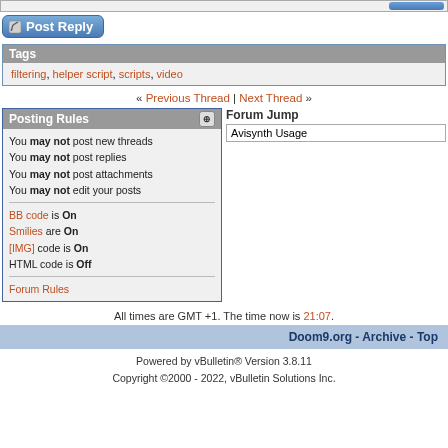[Figure (screenshot): Top navigation bar strip]
[Figure (illustration): Post Reply button with pencil icon]
Tags
filtering, helper script, scripts, video
« Previous Thread | Next Thread »
Posting Rules
You may not post new threads
You may not post replies
You may not post attachments
You may not edit your posts
BB code is On
Smilies are On
[IMG] code is On
HTML code is Off
Forum Rules
Forum Jump
Avisynth Usage
All times are GMT +1. The time now is 21:07.
Doom9.org - Archive - Top
Powered by vBulletin® Version 3.8.11
Copyright ©2000 - 2022, vBulletin Solutions Inc.